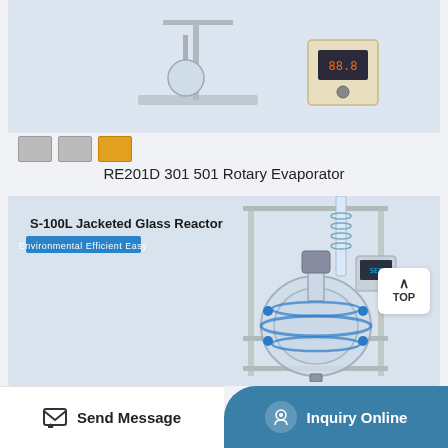[Figure (photo): Rotary evaporator product image (RE201D 301 501) with thumbnail selectors below]
RE201D 301 501 Rotary Evaporator
[Figure (photo): S-100L Jacketed Glass Reactor product image with metal frame stand, large glass flask, condenser column and blue fittings. Badge text: Environmental Efficient Easy. TOP scroll button visible on right.]
Send Message
Inquiry Online